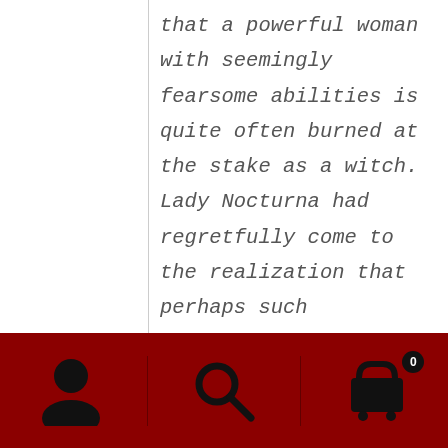that a powerful woman with seemingly fearsome abilities is quite often burned at the stake as a witch.  Lady Nocturna had regretfully come to the realization that perhaps such punishment might be justified in her case.
      The intruder now gripping her throat so tightly that Lilias could
[Figure (other): Dark red navigation footer bar with three icon buttons: a user/profile icon on the left, a search/magnifying glass icon in the center, and a shopping cart icon with a badge showing '0' on the right. Vertical dividers separate the sections.]